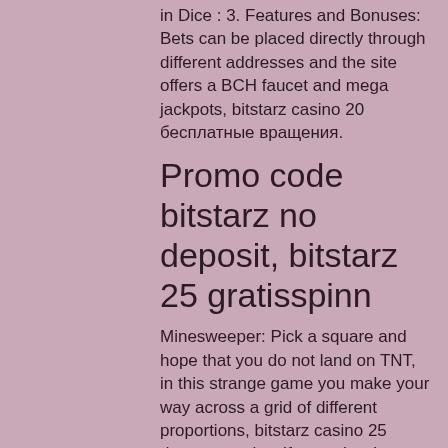in Dice : 3. Features and Bonuses: Bets can be placed directly through different addresses and the site offers a BCH faucet and mega jackpots, bitstarz casino 20 бесплатные вращения.
Promo code bitstarz no deposit, bitstarz 25 gratisspinn
Minesweeper: Pick a square and hope that you do not land on TNT, in this strange game you make your way across a grid of different proportions, bitstarz casino 25 darmowe spiny. If you miss the explosion, then you get a footprint. Pay-outs based on how much risk you take (minus a small house edge). These games have a certain charm; however they are hardly the kind of titles which will see people coming back to SatoshiBet for more very often. Free Bitcoin С... mediа... i... h... ffered bit...